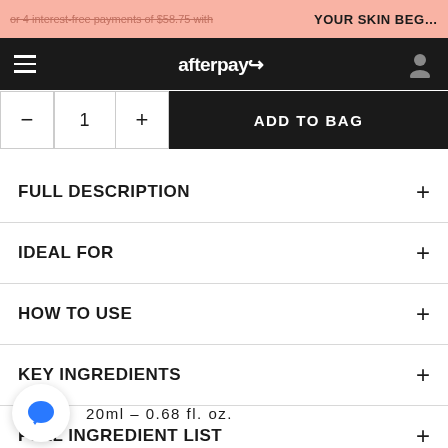or 4 interest-free payments of $58.75 with  YOUR SKIN BEG…
[Figure (screenshot): Afterpay logo in white text on black navigation bar with hamburger menu icon and user profile icon]
— 1 +  ADD TO BAG
FULL DESCRIPTION
IDEAL FOR
HOW TO USE
KEY INGREDIENTS
FULL INGREDIENT LIST
20ml – 0.68 fl. oz.